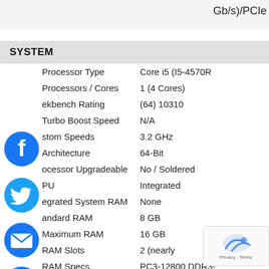Gb/s)/PCIe
SYSTEM
| Specification | Value |
| --- | --- |
| Processor Type | Core i5 (I5-4570R |
| Processors / Cores | 1 (4 Cores) |
| ekbench Rating | (64) 10310 |
| Turbo Boost Speed | N/A |
| stom Speeds | 3.2 GHz |
| Architecture | 64-Bit |
| ocessor Upgradeable | No / Soldered |
| PU | Integrated |
| egrated System RAM | None |
| andard RAM | 8 GB |
| Maximum RAM | 16 GB |
| RAM Slots | 2 (nearly |
| RAM Specs | PC3-12800 DDR3- |